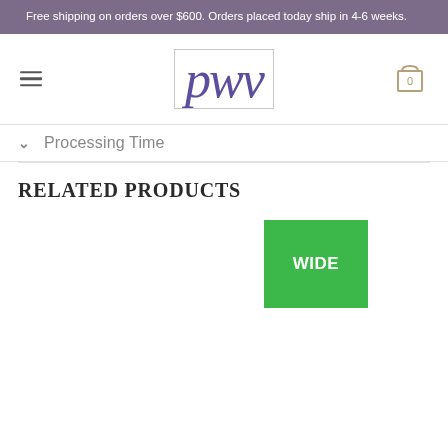Free shipping on orders over $600. Orders placed today ship in 4-6 weeks.
[Figure (logo): PWV logo in purple italic serif font inside a bordered box]
Processing Time
RELATED PRODUCTS
[Figure (other): Green badge with text WIDE]